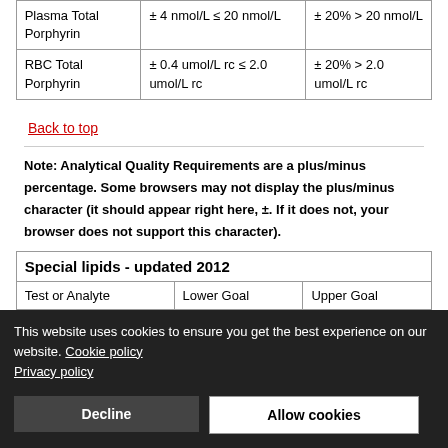| Test or Analyte | Lower Goal | Upper Goal |
| --- | --- | --- |
| Plasma Total Porphyrin | ± 4 nmol/L ≤ 20 nmol/L | ± 20% > 20 nmol/L |
| RBC Total Porphyrin | ± 0.4 umol/L rc ≤ 2.0 umol/L rc | ± 20% > 2.0 umol/L rc |
Back to top
Note: Analytical Quality Requirements are a plus/minus percentage. Some browsers may not display the plus/minus character (it should appear right here, ±. If it does not, your browser does not support this character).
| Test or Analyte | Lower Goal | Upper Goal |
| --- | --- | --- |
This website uses cookies to ensure you get the best experience on our website. Cookie policy Privacy policy
Decline
Allow cookies